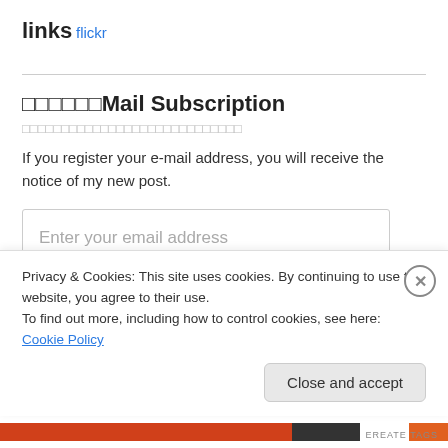links
flickr
□□□□□□Mail Subscription
□□□□□□□□□□□□□□□□□□□□□□□□□□□□
If you register your e-mail address, you will receive the notice of my new post.
Enter your email address
□□□□Register
Privacy & Cookies: This site uses cookies. By continuing to use this website, you agree to their use.
To find out more, including how to control cookies, see here: Cookie Policy
Close and accept